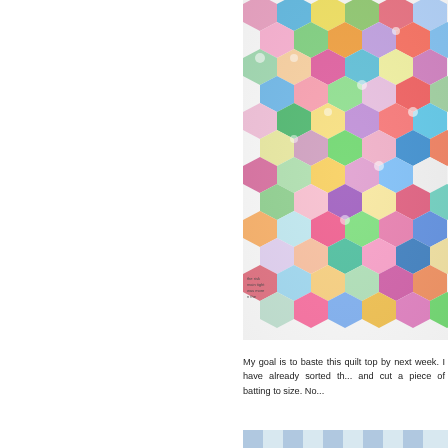[Figure (photo): Close-up photo of a colorful hexagon quilt top made from many different patterned fabric pieces in various colors including pink, blue, green, yellow, red, purple, and white with polka dots, floral prints, and novelty prints.]
My goal is to baste this quilt top by next week. I have already sorted th... and cut a piece of batting to size. No...
[Figure (photo): Partially visible photo at bottom of page, appears to show striped fabric.]